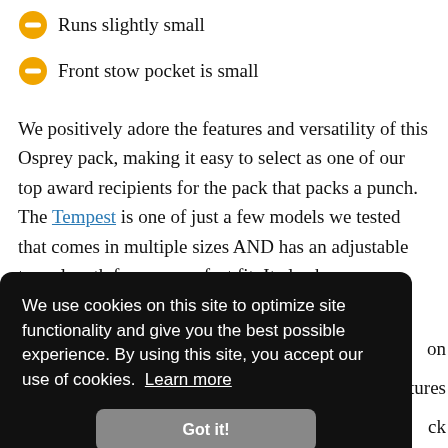Runs slightly small
Front stow pocket is small
We positively adore the features and versatility of this Osprey pack, making it easy to select as one of our top award recipients for the pack that packs a punch. The Tempest is one of just a few models we tested that comes in multiple sizes AND has an adjustable torso length for your perfect fit. It also has an incredibly comfortable trampoline back panel on [partially obscured] features [partially obscured] ck [partially obscured] y to [partially obscured] a [partially obscured] cally
We use cookies on this site to optimize site functionality and give you the best possible experience. By using this site, you accept our use of cookies. Learn more